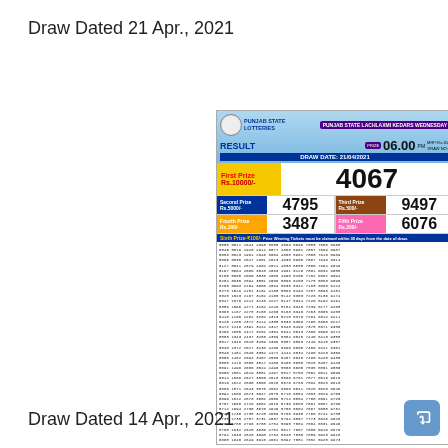Draw Dated 21 Apr., 2021
[Figure (infographic): Punjab State Lachlaxmi Kedars Wednesday lottery result card dated 21/04/2021. First Prize Rs.10000/- winner: 4067. Second Prize Rs.5000/-: 4795. Third Prize Rs.500/-: 9497. Fourth Prize Rs.300/-: 3487. Fifth Prize Rs.200/-: 6076. Sixth Prize Rs.100/- with large grid of winning ticket numbers.]
Draw Dated 14 Apr., 2021